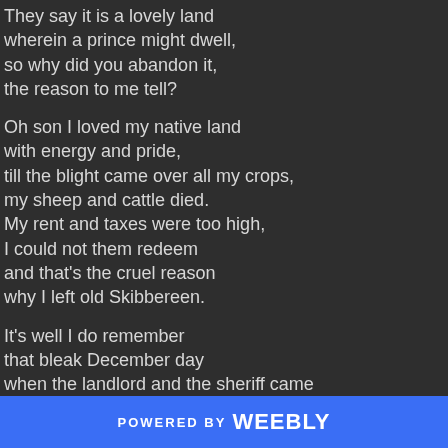They say it is a lovely land
wherein a prince might dwell,
so why did you abandon it,
the reason to me tell?
Oh son I loved my native land
with energy and pride,
till the blight came over all my crops,
my sheep and cattle died.
My rent and taxes were too high,
I could not them redeem
and that's the cruel reason
why I left old Skibbereen.
It's well I do remember
that bleak December day
when the landlord and the sheriff came
to drive us all away.
POWERED BY weebly